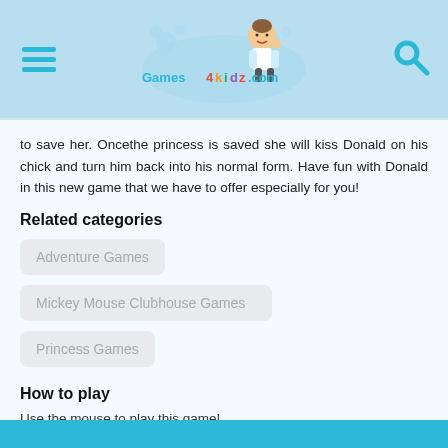[Figure (logo): Games4Kidz.com website logo with cartoon kid and colorful text, hamburger menu icon on left, search icon on right]
to save her. Oncethe princess is saved she will kiss Donald on his chick and turn him back into his normal form. Have fun with Donald in this new game that we have to offer especially for you!
Related categories
Adventure Games
Mickey Mouse Clubhouse Games
Princess Games
How to play
Use the mouse to play this game!